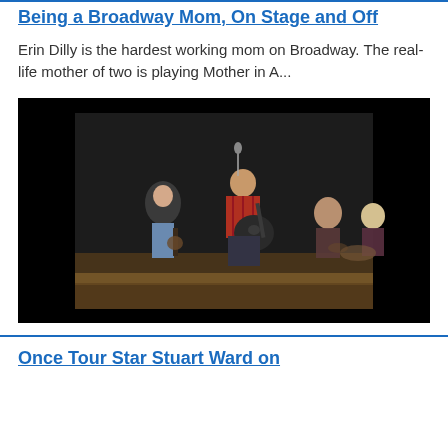Being a Broadway Mom, On Stage and Off
Erin Dilly is the hardest working mom on Broadway. The real-life mother of two is playing Mother in A...
[Figure (photo): Stage performance photo: a man in a red plaid shirt playing an acoustic guitar in front of a microphone, with band members and musicians visible in the background on a stage set]
Once Tour Star Stuart Ward on